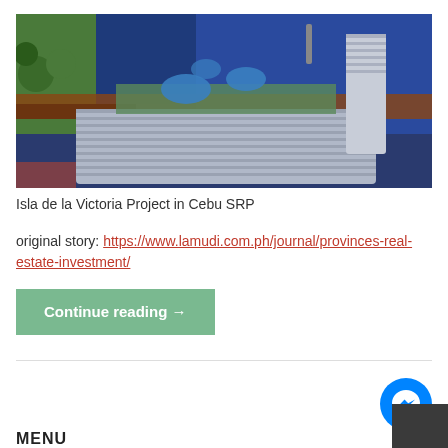[Figure (photo): Aerial architectural rendering of Isla de la Victoria Project in Cebu SRP, showing a large mixed-use development with curved building facade along a coastal road, blue water in background, and landscaped rooftop]
Isla de la Victoria Project in Cebu SRP
original story: https://www.lamudi.com.ph/journal/provinces-real-estate-investment/
Continue reading →
MENU